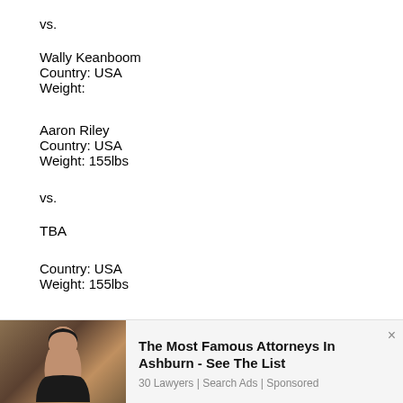vs.
Wally Keanboom
Country: USA
Weight:
Aaron Riley
Country: USA
Weight: 155lbs
vs.
TBA
Country: USA
Weight: 155lbs
[Figure (photo): Advertisement photo of a woman with dark hair, used in an ad banner for attorneys in Ashburn]
The Most Famous Attorneys In Ashburn - See The List
30 Lawyers | Search Ads | Sponsored